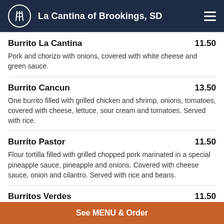La Cantina of Brookings, SD
Burrito La Cantina 11.50 - Pork and chorizo with onions, covered with white cheese and green sauce.
Burrito Cancun 13.50 - One burrito filled with grilled chicken and shrimp, onions, tomatoes, covered with cheese, lettuce, sour cream and tomatoes. Served with rice.
Burrito Pastor 11.50 - Flour tortilla filled with grilled chopped pork marinated in a special pineapple sauce, pineapple and onions. Covered with cheese sauce, onion and cilantro. Served with rice and beans.
Burritos Verdes 11.50 - Two chicken burritos covered with green sauce and cheese, talked with lettuce, tomatoes, sour cream and served with rice.
See MENU & Order